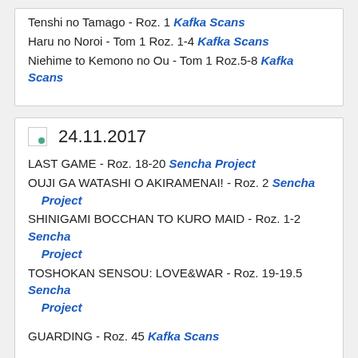Tenshi no Tamago - Roz. 1 Kafka Scans
Haru no Noroi - Tom 1 Roz. 1-4 Kafka Scans
Niehime to Kemono no Ou - Tom 1 Roz.5-8 Kafka Scans
24.11.2017
LAST GAME - Roz. 18-20 Sencha Project
OUJI GA WATASHI O AKIRAMENAI! - Roz. 2 Sencha Project
SHINIGAMI BOCCHAN TO KURO MAID - Roz. 1-2 Sencha Project
TOSHOKAN SENSOU: LOVE&WAR - Roz. 19-19.5 Sencha Project
GUARDING - Roz. 45 Kafka Scans
Shoujo Fujuubun - Roz. 2 Phoenix Scans
23.11.2017